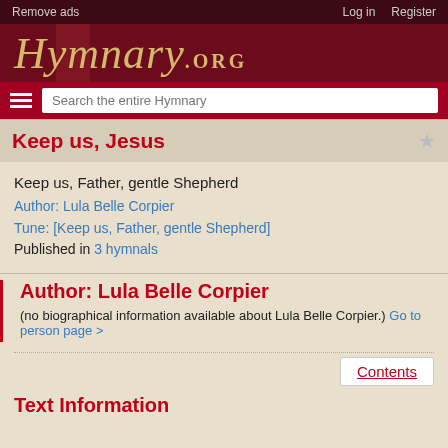Remove ads | Log in | Register
Hymnary.org
Keep us, Jesus
Keep us, Father, gentle Shepherd
Author: Lula Belle Corpier
Tune: [Keep us, Father, gentle Shepherd]
Published in 3 hymnals
Author: Lula Belle Corpier
(no biographical information available about Lula Belle Corpier.) Go to person page >
Text Information